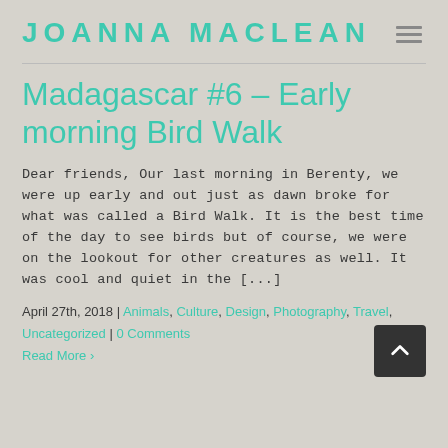JOANNA MACLEAN
Madagascar #6 – Early morning Bird Walk
Dear friends, Our last morning in Berenty, we were up early and out just as dawn broke for what was called a Bird Walk. It is the best time of the day to see birds but of course, we were on the lookout for other creatures as well. It was cool and quiet in the [...]
April 27th, 2018 | Animals, Culture, Design, Photography, Travel, Uncategorized | 0 Comments
Read More >